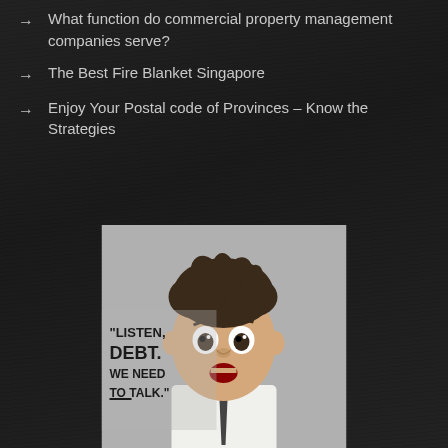→ What function do commercial property management companies serve?
→ The Best Fire Blanket Singapore
→ Enjoy Your Postal code of Provinces – Know the Strategies
[Figure (photo): A man with messy hair and wide eyes looking surprised, next to text reading: "LISTEN, DEBT. WE NEED TO TALK."]